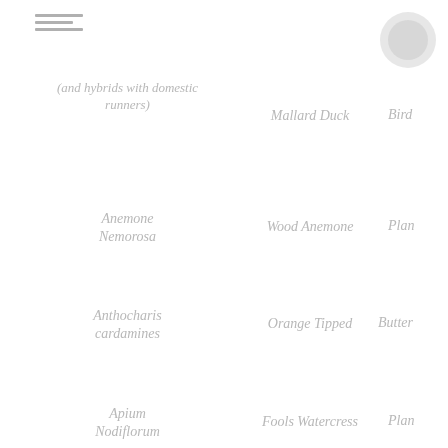[Figure (other): Hamburger/menu icon - three horizontal gray lines]
[Figure (other): Top-right circular icon or logo]
(and hybrids with domestic runners)
Mallard Duck
Bir
Anemone Nemorosa
Wood Anemone
Pla
Anthocharis cardamines
Orange Tipped
Butter
Apium Nodiflorum
Fools Watercress
Pla
Apus Apus
Swift
Bir
Asellus Aquaticus
Water Louse
Crusta
Asplenium
Hart's-tongue
Fern